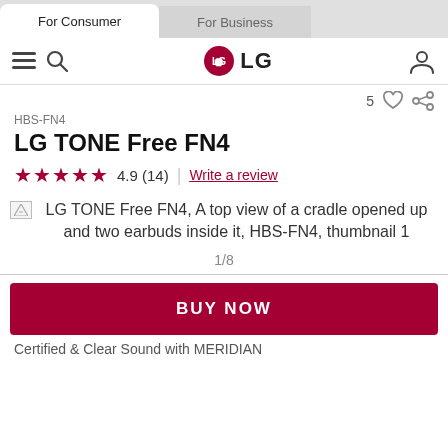For Consumer | For Business
[Figure (logo): LG logo with red circle and LG text]
HBS-FN4
LG TONE Free FN4
4.9 (14) | Write a review
[Figure (photo): LG TONE Free FN4, A top view of a cradle opened up and two earbuds inside it, HBS-FN4, thumbnail 1]
1/8
BUY NOW
Certified & Clear Sound with MERIDIAN